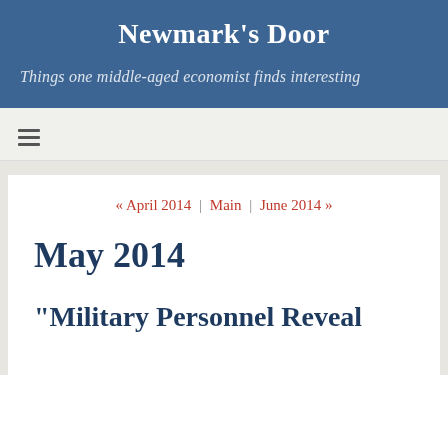Newmark's Door
Things one middle-aged economist finds interesting
Navigation menu icon
« April 2014 | Main | June 2014 »
May 2014
"Military Personnel Reveal